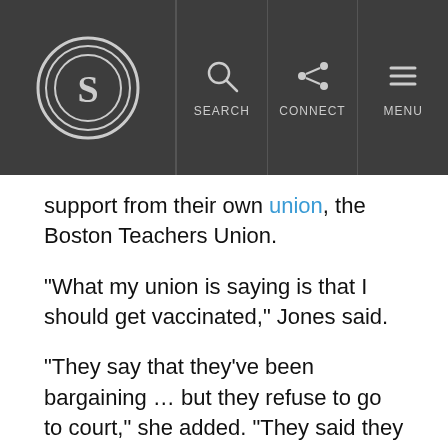S [logo] | SEARCH | CONNECT | MENU
support from their own union, the Boston Teachers Union.
“What my union is saying is that I should get vaccinated,” Jones said.
“They say that they’ve been bargaining … but they refuse to go to court,” she added. “They said they wouldn’t win, they had no chance of winning.”
The union disagrees.
“The facts show that [Boston Teachers Union] has taken numerous steps to advance flexibility and access for members with regard to city vaccination